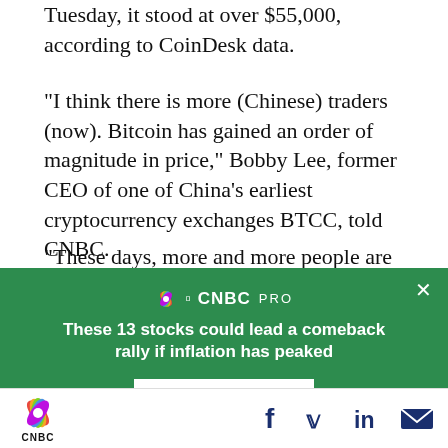Tuesday, it stood at over $55,000, according to CoinDesk data.
“I think there is more (Chinese) traders (now). Bitcoin has gained an order of magnitude in price,” Bobby Lee, former CEO of one of China’s earliest cryptocurrency exchanges BTCC, told CNBC.
“These days, more and more people are using
[Figure (other): CNBC PRO advertisement overlay with green background. Headline: 'These 13 stocks could lead a comeback rally if inflation has peaked'. Button: 'SEE THE STOCKS'. Close button (X) in top right.]
CNBC logo with peacock icon, social media icons: Facebook, Twitter, LinkedIn, Email